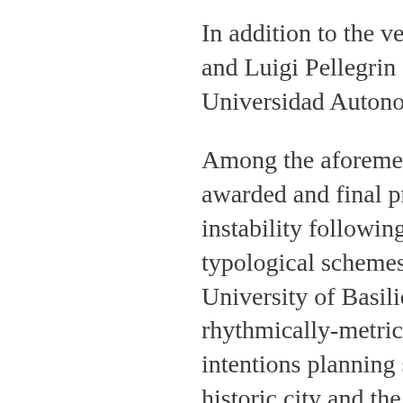In addition to the very im and Luigi Pellegrin desig Universidad Autonoma d
Among the aforemention awarded and final projec instability following the C typological schemes are University of Basilicata b rhythmically-metrically a intentions planning shou historic city and the mos reinterpreted as a mode imperial palaces, placing territorial reorganization within a larger area desi wider system of about fi environmental restructu